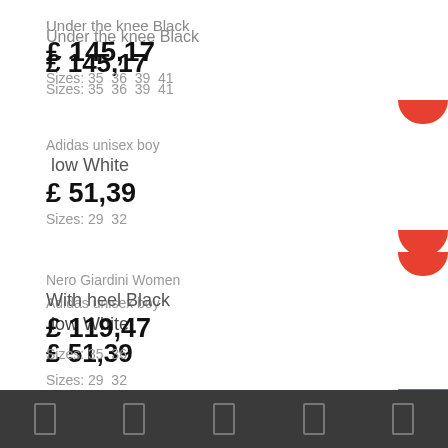Under the knee Black
£ 145,17
Sizes: 35  36  39  41
Adidas unisex boy
low White
£ 51,39
Sizes: 29  32
Nero Giardini Women
With heel Black
£ 119,47
Sizes: 35  36